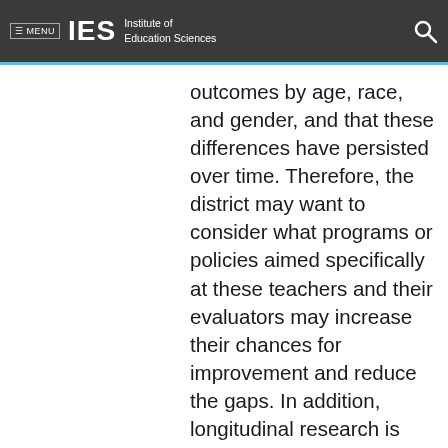≡ MENU  IES  Institute of Education Sciences
outcomes by age, race, and gender, and that these differences have persisted over time. Therefore, the district may want to consider what programs or policies aimed specifically at these teachers and their evaluators may increase their chances for improvement and reduce the gaps. In addition, longitudinal research is needed to examine whether the...